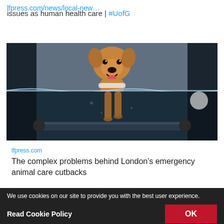issues as human health care | #UofG
lfpress.com/news/local-new…
[Figure (photo): A golden retriever dog walking on an underwater treadmill, photographed from a split view showing both above and below the water surface. The dog appears happy with its mouth open.]
lfpress.com
The complex problems behind London's emergency animal care cutbacks
3 likes
We use cookies on our site to provide you with the best user experience.
Read Cookie Policy
OK